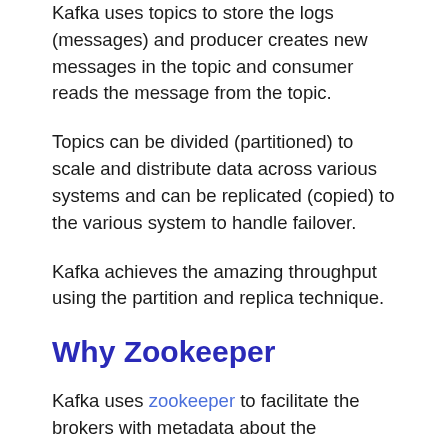Kafka uses topics to store the logs (messages) and producer creates new messages in the topic and consumer reads the message from the topic.
Topics can be divided (partitioned) to scale and distribute data across various systems and can be replicated (copied) to the various system to handle failover.
Kafka achieves the amazing throughput using the partition and replica technique.
Why Zookeeper
Kafka uses zookeeper to facilitate the brokers with metadata about the processes running in